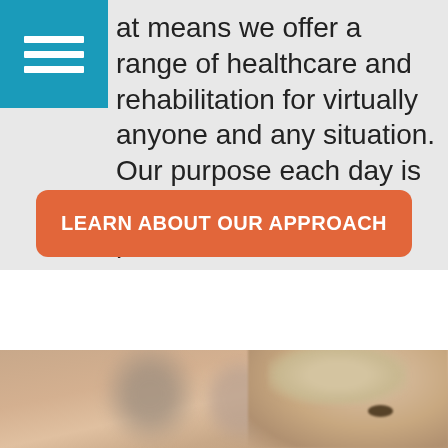at means we offer a range of healthcare and rehabilitation for virtually anyone and any situation. Our purpose each day is to enrich the life of each person we serve.
LEARN ABOUT OUR APPROACH
[Figure (photo): A blonde woman in the foreground with blurred people in the background, appearing to be in a healthcare or group setting]